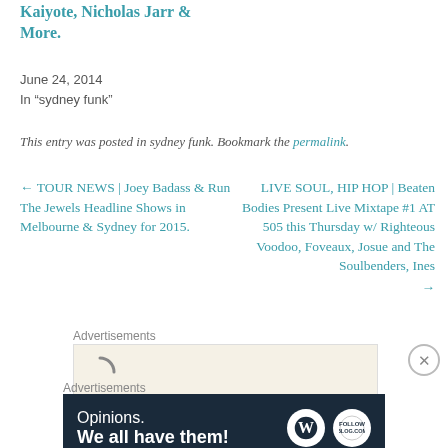Kaiyote, Nicholas Jarr & More.
June 24, 2014
In "sydney funk"
This entry was posted in sydney funk. Bookmark the permalink.
← TOUR NEWS | Joey Badass & Run The Jewels Headline Shows in Melbourne & Sydney for 2015.
LIVE SOUL, HIP HOP | Beaten Bodies Present Live Mixtape #1 AT 505 this Thursday w/ Righteous Voodoo, Foveaux, Josue and The Soulbenders, Ines →
Advertisements
[Figure (other): Advertisement banner with beige background and loading spinner icon]
Advertisements
[Figure (other): Advertisement banner: dark navy background with text 'Opinions. We all have them!' and WordPress logos on the right]